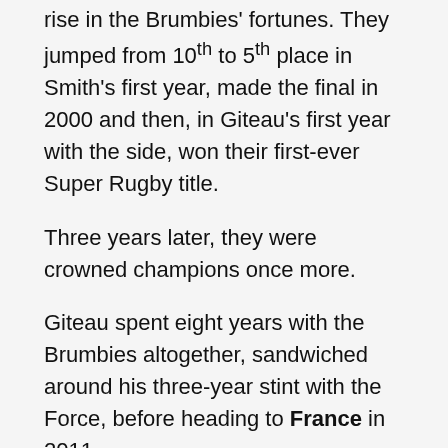rise in the Brumbies' fortunes. They jumped from 10th to 5th place in Smith's first year, made the final in 2000 and then, in Giteau's first year with the side, won their first-ever Super Rugby title.
Three years later, they were crowned champions once more.
Giteau spent eight years with the Brumbies altogether, sandwiched around his three-year stint with the Force, before heading to France in 2011.
Despite the likely move from Japan back to Australia and the fact that his body is still holding up well, Giteau isn't planning on lacing up the boots for a